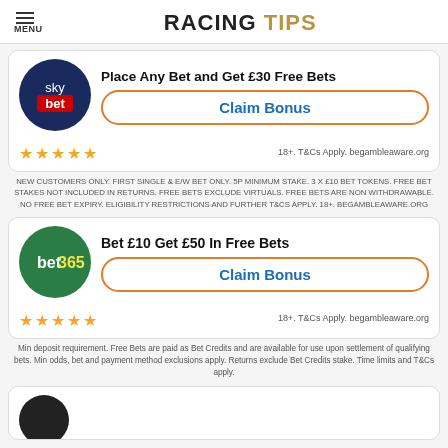RACING TIPS
[Figure (logo): Sky Bet logo in dark blue circle]
Place Any Bet and Get £30 Free Bets
Claim Bonus
18+. T&Cs Apply. begambleaware.org
NEW CUSTOMERS ONLY. FIRST SINGLE & E/W BET ONLY. 5P MINIMUM STAKE. 3 X £10 BET TOKENS. FREE BET STAKES NOT INCLUDED IN RETURNS. FREE BETS EXCLUDE VIRTUALS. FREE BETS ARE NON WITHDRAWABLE. NO FREE BET EXPIRY. ELIGIBILITY RESTRICTIONS AND FURTHER T&CS APPLY. 18+. BEGAMBLEAWARE.ORG
[Figure (logo): bet365 logo in green circle]
Bet £10 Get £50 In Free Bets
Claim Bonus
18+. T&Cs Apply. begambleaware.org
Min deposit requirement. Free Bets are paid as Bet Credits and are available for use upon settlement of qualifying bets. Min odds, bet and payment method exclusions apply. Returns exclude Bet Credits stake. Time limits and T&Cs apply.